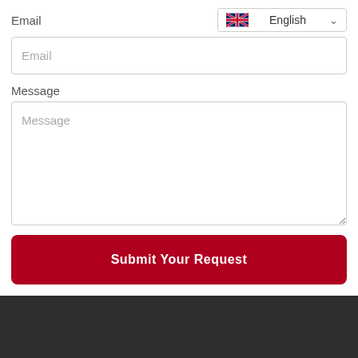Email
[Figure (other): Language selector dropdown showing UK flag and 'English' with a chevron arrow]
[Figure (other): Email input field with placeholder text 'Email']
Message
[Figure (other): Message textarea with placeholder text 'Message']
Submit Your Request
Quality First, Reputation First, Service First, Customer First.